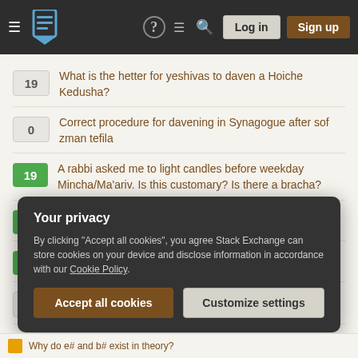Stack Exchange navigation bar with Log in and Sign up buttons
19 — What is the hetter for yeshivas to daven a Hoiche Kedusha?
0 — Correct procedure for davening in Synagogue after sof zman tefila
19 — A rabbi asked me to light candles before weekday Mincha/Ma'ariv. Is this customary? Is there a bracha?
6 — Can a mistaken extra Mincha count for Ma'ariv?
2 — Early shabbos during sefira
4 — Mistake first night of Pesach vs Dec 4 on Friday night
Your privacy
By clicking "Accept all cookies", you agree Stack Exchange can store cookies on your device and disclose information in accordance with our Cookie Policy.
Accept all cookies | Customize settings
Why do e# and b# exist in theory?